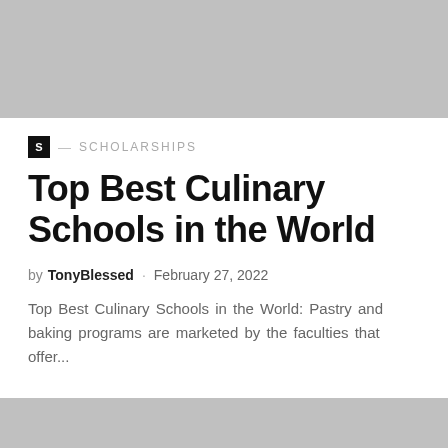[Figure (photo): Gray placeholder image at top of article]
S — SCHOLARSHIPS
Top Best Culinary Schools in the World
by TonyBlessed · February 27, 2022
Top Best Culinary Schools in the World: Pastry and baking programs are marketed by the faculties that offer...
[Figure (photo): Gray placeholder image at bottom of page]